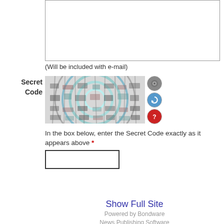[Figure (other): Text area input box (empty)]
(Will be included with e-mail)
Secret Code
[Figure (other): CAPTCHA image with swirling distorted pattern and three icon buttons (camera, refresh, help)]
In the box below, enter the Secret Code exactly as it appears above *
[Figure (other): Text input box for secret code entry]
[Figure (other): Send to a friend button]
Show Full Site
Powered by Bondware
News Publishing Software